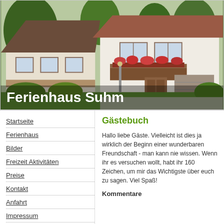[Figure (photo): Exterior photo of a German holiday house (Ferienhaus) with white walls, dark wooden roof, balcony with flower boxes, garage door, and surrounding greenery.]
Ferienhaus Suhm
Startseite
Ferienhaus
Bilder
Freizeit Aktivitäten
Preise
Kontakt
Anfahrt
Impressum
Gästebuch
Hallo liebe Gäste. Vielleicht ist dies ja wirklich der Beginn einer wunderbaren Freundschaft - man kann nie wissen. Wenn ihr es versuchen wollt, habt ihr 160 Zeichen, um mir das Wichtigste über euch zu sagen. Viel Spaß!
Kommentare